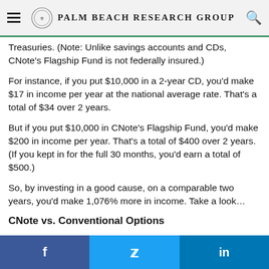Palm Beach Research Group
Treasuries. (Note: Unlike savings accounts and CDs, CNote's Flagship Fund is not federally insured.)
For instance, if you put $10,000 in a 2-year CD, you'd make $17 in income per year at the national average rate. That's a total of $34 over 2 years.
But if you put $10,000 in CNote's Flagship Fund, you'd make $200 in income per year. That's a total of $400 over 2 years. (If you kept in for the full 30 months, you'd earn a total of $500.)
So, by investing in a good cause, on a comparable two years, you'd make 1,076% more in income. Take a look…
CNote vs. Conventional Options
f  Twitter  in